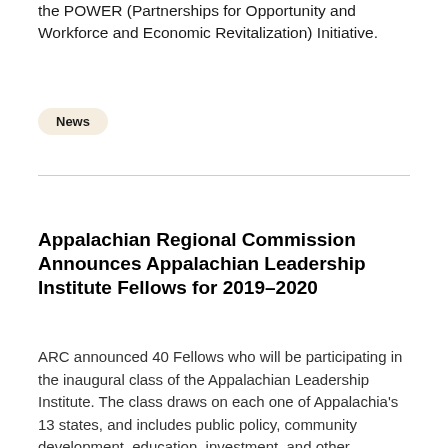the POWER (Partnerships for Opportunity and Workforce and Economic Revitalization) Initiative.
News
Appalachian Regional Commission Announces Appalachian Leadership Institute Fellows for 2019–2020
ARC announced 40 Fellows who will be participating in the inaugural class of the Appalachian Leadership Institute. The class draws on each one of Appalachia's 13 states, and includes public policy, community development, education, investment, and other professionals who live and/or